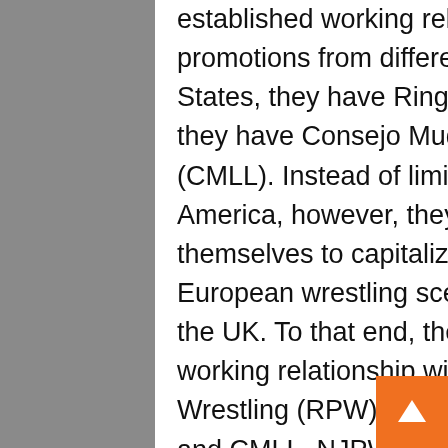established working relationships with other major promotions from different countries. In the United States, they have Ring of Honor; and in Mexico, they have Consejo Mudial de Lucha Libre (CMLL). Instead of limiting themselves to North America, however, they've also taken it upon themselves to capitalize on the now thriving European wrestling scene, particularly the one in the UK. To that end, they've established a working relationship with Revolution Pro Wrestling (RPW). Much like they do with ROH and CMLL, NJPW holds a joint event with RPW once a year in the United Kingdom called Global Wars.
The cards for these events are normally stacked, with some really intriguing match-ups such as that of Katsuyori Shibata vs. Zack Sabre Jr., Yuji Nagata vs. Pete Dunne, as well as Jushin Thunder Liger vs. Marty Scurl. However, the most intriguing match-up, and the one with the most potential, was that of Chris Hero and Tomohiro Ishii. Here is